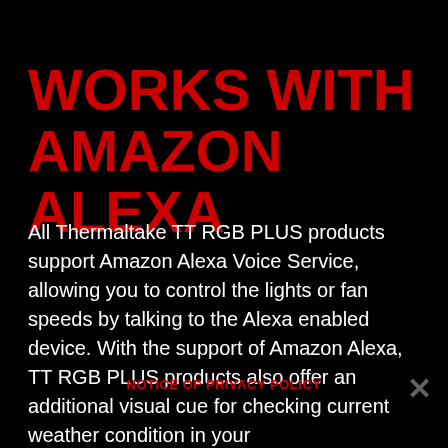WORKS WITH AMAZON ALEXA
All Thermaltake TT RGB PLUS products support Amazon Alexa Voice Service, allowing you to control the lights or fan speeds by talking to the Alexa enabled device. With the support of Amazon Alexa, TT RGB PLUS products also offer an additional visual cue for checking current weather condition in your location or anywhere in the world. All you have to do is simply starting the sentence with "Alexa, tell Thermaltake" and select a climate control
NOTICE OF PRIVACY POLICY